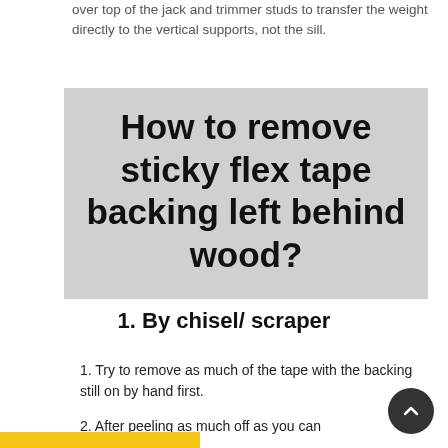over top of the jack and trimmer studs to transfer the weight directly to the vertical supports, not the sill.
How to remove sticky flex tape backing left behind wood?
1. By chisel/ scraper
1. Try to remove as much of the tape with the backing still on by hand first.
2. After peeling as much off as you can